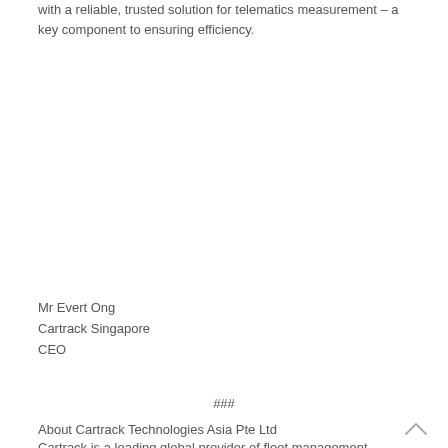with a reliable, trusted solution for telematics measurement – a key component to ensuring efficiency.
Mr Evert Ong
Cartrack Singapore
CEO
###
About Cartrack Technologies Asia Pte Ltd
Cartrack is a leading global provider of fleet management...